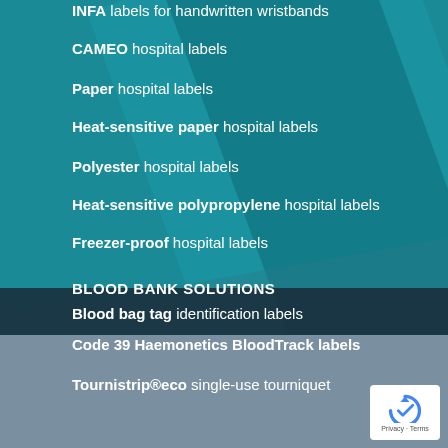INFA labels for handwritten wristbands
CAMEO hospital labels
Paper hospital labels
Heat-sensitive paper hospital labels
Polyester hospital labels
Heat-sensitive polypropylene hospital labels
Freezer-proof hospital labels
BLOOD BANK SOLUTIONS
Blood bag tag identification labels
Code 39 Haemonetics BloodTrack labels
Tournistrip®eco single-use tourniquet